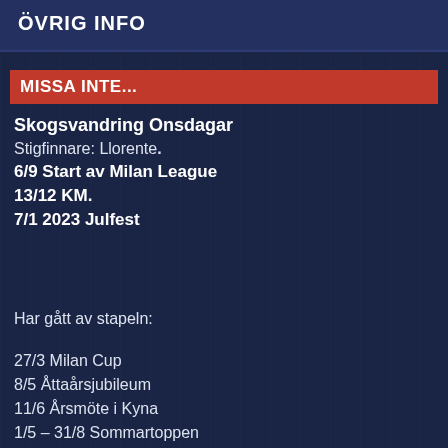ÖVRIG INFO
MISSA INTE...
Skogsvandring Onsdagar
Stigfinnare: Llorente.
6/9 Start av Milan League
13/12 KM.
7/1 2023 Julfest
Har gått av stapeln:
27/3 Milan Cup
8/5 Åttaårsjubileum
11/6 Årsmöte i Kyna
1/5 – 31/8 Sommartorppen